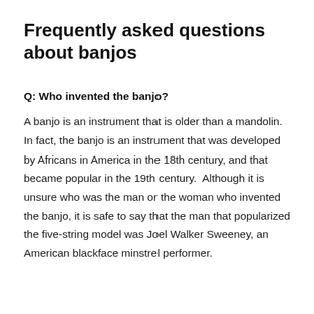Frequently asked questions about banjos
Q: Who invented the banjo?
A banjo is an instrument that is older than a mandolin. In fact, the banjo is an instrument that was developed by Africans in America in the 18th century, and that became popular in the 19th century.  Although it is unsure who was the man or the woman who invented the banjo, it is safe to say that the man that popularized the five-string model was Joel Walker Sweeney, an American blackface minstrel performer.